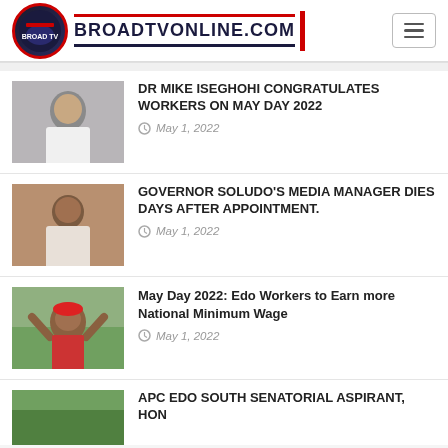BROADTVONLINE.COM
DR MIKE ISEGHOHI CONGRATULATES WORKERS ON MAY DAY 2022
May 1, 2022
GOVERNOR SOLUDO'S MEDIA MANAGER DIES DAYS AFTER APPOINTMENT.
May 1, 2022
May Day 2022: Edo Workers to Earn more National Minimum Wage
May 1, 2022
APC EDO SOUTH SENATORIAL ASPIRANT, HON